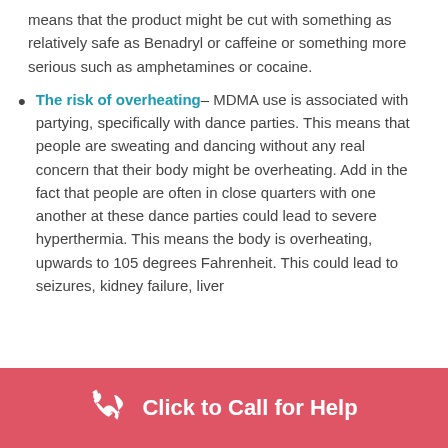means that the product might be cut with something as relatively safe as Benadryl or caffeine or something more serious such as amphetamines or cocaine.
The risk of overheating– MDMA use is associated with partying, specifically with dance parties. This means that people are sweating and dancing without any real concern that their body might be overheating. Add in the fact that people are often in close quarters with one another at these dance parties could lead to severe hyperthermia. This means the body is overheating, upwards to 105 degrees Fahrenheit. This could lead to seizures, kidney failure, liver
Click to Call for Help